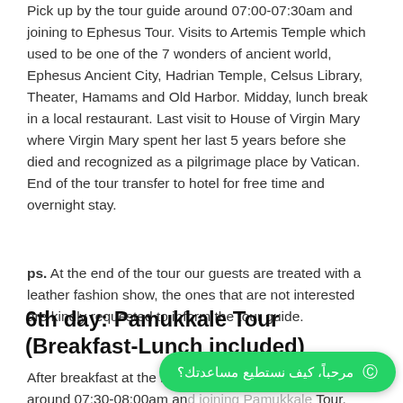Pick up by the tour guide around 07:00-07:30am and joining to Ephesus Tour. Visits to Artemis Temple which used to be one of the 7 wonders of ancient world, Ephesus Ancient City, Hadrian Temple, Celsus Library, Theater, Hamams and Old Harbor. Midday, lunch break in a local restaurant. Last visit to House of Virgin Mary where Virgin Mary spent her last 5 years before she died and recognized as a pilgrimage place by Vatican. End of the tour transfer to hotel for free time and overnight stay.
ps. At the end of the tour our guests are treated with a leather fashion show, the ones that are not interested are kindly requested to inform the tour guide.
6th day: Pamukkale Tour (Breakfast-Lunch included)
After breakfast at the hotel, pick up by the tour guide around 07:30-08:00am and joining Pamukkale Tour. Pamukkale has hot springs and travertines, terraces